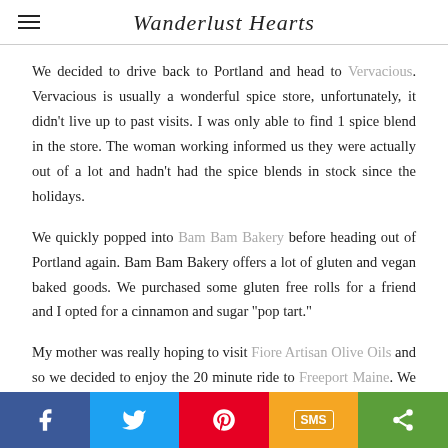Wanderlust Hearts
We decided to drive back to Portland and head to Vervacious. Vervacious is usually a wonderful spice store, unfortunately, it didn't live up to past visits. I was only able to find 1 spice blend in the store. The woman working informed us they were actually out of a lot and hadn't had the spice blends in stock since the holidays.
We quickly popped into Bam Bam Bakery before heading out of Portland again. Bam Bam Bakery offers a lot of gluten and vegan baked goods. We purchased some gluten free rolls for a friend and I opted for a cinnamon and sugar "pop tart."
My mother was really hoping to visit Fiore Artisan Olive Oils and so we decided to enjoy the 20 minute ride to Freeport Maine. We are so glad we did! Freeport is an adorable town and we all agree we definitely want to return for a stay. We popped into LL Bean, Fiore
f  [twitter]  [pinterest]  SMS  [share]